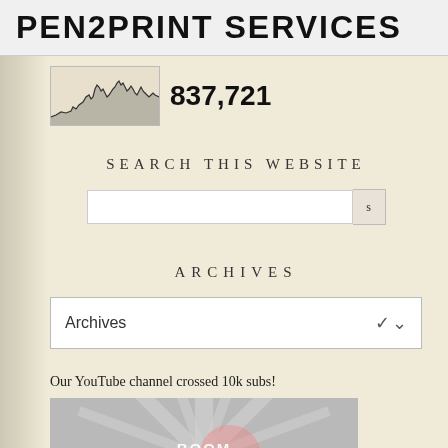PEN2PRINT SERVICES
[Figure (continuous-plot): Small inline sparkline/area chart showing visitor traffic over time]
837,721
SEARCH THIS WEBSITE
[Figure (other): Search input box with submit button]
ARCHIVES
[Figure (other): Archives dropdown selector showing 'Archives' with chevron]
Our YouTube channel crossed 10k subs!
[Figure (screenshot): YouTube subscribe thumbnail with burst rays background, BOOM text, Subscribe button, and 10,000 subscriber count]